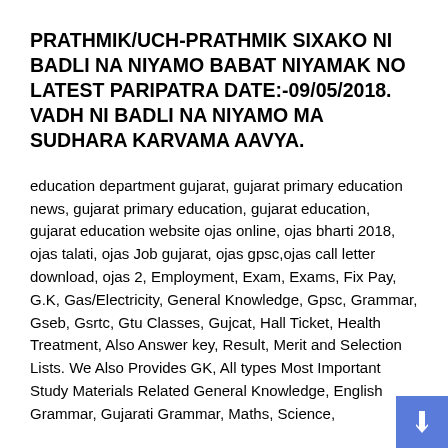PRATHMIK/UCH-PRATHMIK SIXAKO NI BADLI NA NIYAMO BABAT NIYAMAK NO LATEST PARIPATRA DATE:-09/05/2018. VADH NI BADLI NA NIYAMO MA SUDHARA KARVAMA AAVYA.
education department gujarat, gujarat primary education news, gujarat primary education, gujarat education, gujarat education website ojas online, ojas bharti 2018, ojas talati, ojas Job gujarat, ojas gpsc,ojas call letter download, ojas 2, Employment, Exam, Exams, Fix Pay, G.K, Gas/Electricity, General Knowledge, Gpsc, Grammar, Gseb, Gsrtc, Gtu Classes, Gujcat, Hall Ticket, Health Treatment, Also Answer key, Result, Merit and Selection Lists. We Also Provides GK, All types Most Important Study Materials Related General Knowledge, English Grammar, Gujarati Grammar, Maths, Science,
Model Papers, Exams Old Papers, GK In Mp3 And Video Formats For All types COMPETITIVE EXAMS Like TET/TAT/HTAT, GPSC, Talati, Clerk, Police Constable And All Others. Also Good Study materials for Primary, secondary and